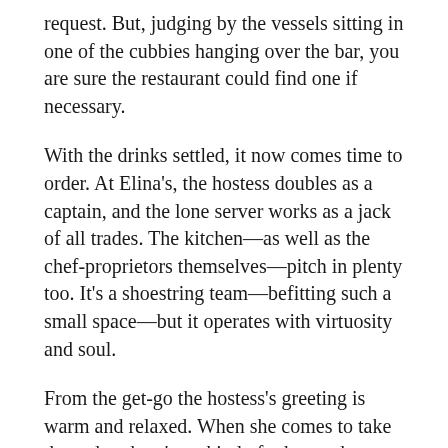request. But, judging by the vessels sitting in one of the cubbies hanging over the bar, you are sure the restaurant could find one if necessary.
With the drinks settled, it now comes time to order. At Elina's, the hostess doubles as a captain, and the lone server works as a jack of all trades. The kitchen—as well as the chef-proprietors themselves—pitch in plenty too. It's a shoestring team—befitting such a small space—but it operates with virtuosity and soul.
From the get-go the hostess's greeting is warm and relaxed. When she comes to take the order, there's no kind of rehearsed, concocted spiel. Rather, it's a conversation—or, in your case, a challenge to transcribe the full breadth of the desired dishes, their quantity, and their staging throughout the course of the meal. For example, you might